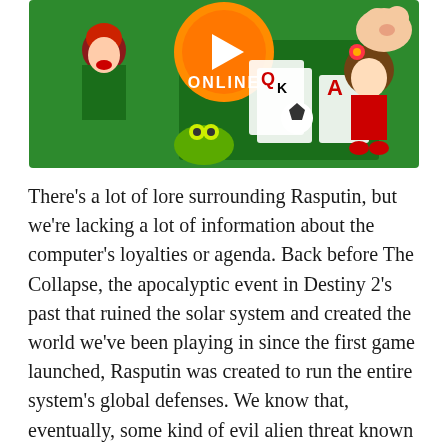[Figure (illustration): A gaming promotional image showing animated characters including a red-haired fighter, a green creature, a girl with flower in hair, playing cards (Q, K, A), a soccer ball, and an orange 'ONLINE' badge/logo in the center top area, all on a green background.]
There's a lot of lore surrounding Rasputin, but we're lacking a lot of information about the computer's loyalties or agenda. Back before The Collapse, the apocalyptic event in Destiny 2's past that ruined the solar system and created the world we've been playing in since the first game launched, Rasputin was created to run the entire system's global defenses. We know that, eventually, some kind of evil alien threat known as The Darkness showed up, and it seems that Rasputin fought it. Then the computer